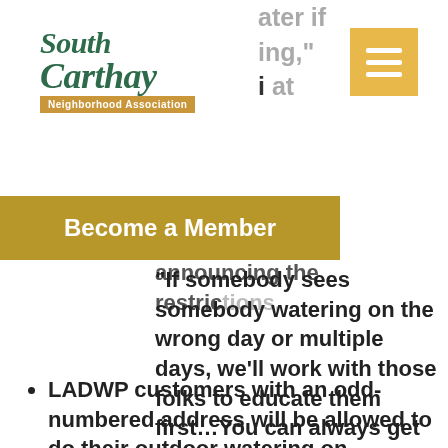[Figure (logo): South Carthay Neighborhood Association logo with italic serif text in dark green and a golden ribbon banner]
[Figure (other): Yellow/gold hamburger menu button with three white horizontal lines]
"We have plenty of water if the right thing," said Mayor Eric Garcetti at
Become a Member
announcing the restrictions. "If somebody sees somebody watering on the wrong day or multiple days, we'll work with those folks to educate them first…You can always get a fine, but that's not where we'll start."
LADWP customers with an odd-numbered address will be allowed to do their outdoor watering on Mondays and Fridays, while